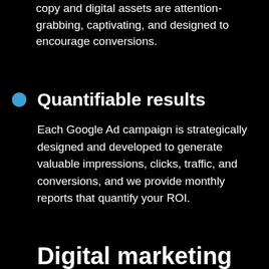copy and digital assets are attention-grabbing, captivating, and designed to encourage conversions.
Quantifiable results
Each Google Ad campaign is strategically designed and developed to generate valuable impressions, clicks, traffic, and conversions, and we provide monthly reports that quantify your ROI.
Digital marketing